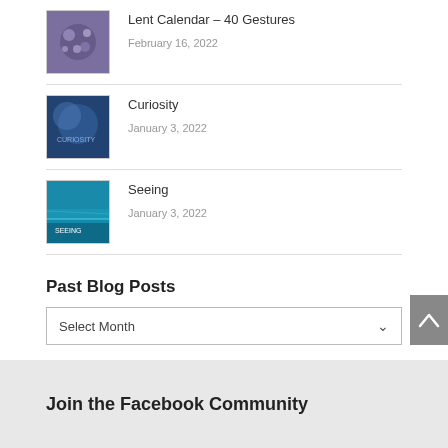Lent Calendar – 40 Gestures
February 16, 2022
Curiosity
January 3, 2022
Seeing
January 3, 2022
Past Blog Posts
Select Month
Join the Facebook Community